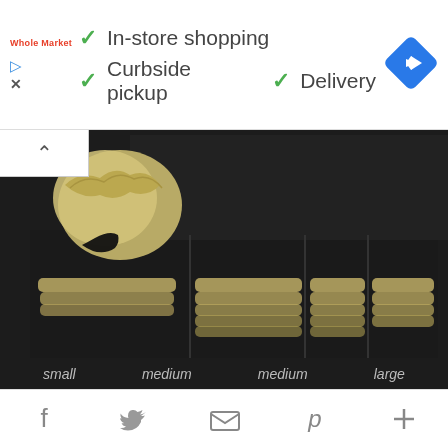[Figure (screenshot): Ad banner for Whole Market store showing green checkmarks with 'In-store shopping', 'Curbside pickup', and 'Delivery' text, with a blue navigation diamond icon on the right and red store logo on the left.]
[Figure (photo): Black display box opened to show gold/metallic foldable ballet flats organized in compartments labeled small, medium, medium, large from left to right. One shoe is propped up showing the full shoe with black elastic band.]
small    medium    medium    large
[Figure (screenshot): Social sharing bar at bottom with icons for Facebook, Twitter, email/envelope, Pinterest, and plus/more button.]